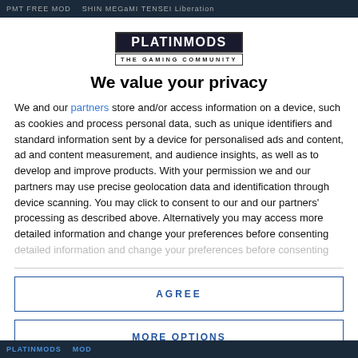PMT FREE MOD  SHIN MEGaMI TENSEI Liberation
[Figure (logo): PLATINMODS THE GAMING COMMUNITY logo]
We value your privacy
We and our partners store and/or access information on a device, such as cookies and process personal data, such as unique identifiers and standard information sent by a device for personalised ads and content, ad and content measurement, and audience insights, as well as to develop and improve products. With your permission we and our partners may use precise geolocation data and identification through device scanning. You may click to consent to our and our partners' processing as described above. Alternatively you may access more detailed information and change your preferences before consenting
AGREE
MORE OPTIONS
PLATINMODS MOD